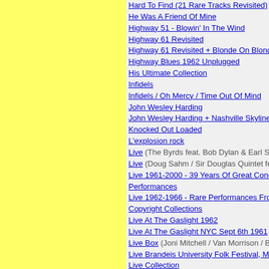Hard To Find (21 Rare Tracks Revisited)
He Was A Friend Of Mine
Highway 51 - Blowin' In The Wind
Highway 61 Revisited
Highway 61 Revisited + Blonde On Blonde
Highway Blues 1962 Unplugged
His Ultimate Collection
Infidels
Infidels / Oh Mercy / Time Out Of Mind
John Wesley Harding
John Wesley Harding + Nashville Skyline
Knocked Out Loaded
L'explosion rock
Live (The Byrds feat. Bob Dylan & Earl Scruggs)
Live (Doug Sahm / Sir Douglas Quintet feat. Bob Dylan)
Live 1961-2000 - 39 Years Of Great Concert Performances
Live 1962-1966 - Rare Performances From The Copyright Collections
Live At The Gaslight 1962
Live At The Gaslight NYC Sept 6th 1961
Live Box (Joni Mitchell / Van Morrison / Bob Dylan)
Live Brandeis University Folk Festival, May 10th 1963
Live Collection
Live In Colorado 1976 (Bob Dylan feat. Joan Baez & T Bone Burnett)
Live On Air (Tom Petty & Bob Dylan)
Live On Air
Live On Air - Radio Broadcast 1986 (Tom Petty & Bob Dylan)
Live To Air
Long Time Gone: Demos And Rare Tracks 1962-1966
Love And Theft
Man Of Constant Sorrow
Man Of Constant Sorrow - Greatest Hits
Masked & Anonymous (Soundtrack / Bob Dylan)
Masterpieces